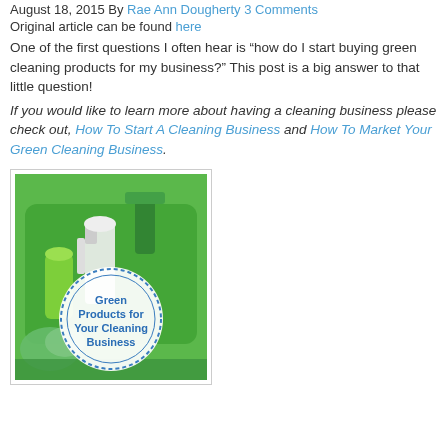August 18, 2015 By Rae Ann Dougherty 3 Comments
Original article can be found here
One of the first questions I often hear is “how do I start buying green cleaning products for my business?” This post is a big answer to that little question!
If you would like to learn more about having a cleaning business please check out, How To Start A Cleaning Business and How To Market Your Green Cleaning Business.
[Figure (photo): Photo of green cleaning products in a green basket with a circular badge reading 'Green Products for Your Cleaning Business']